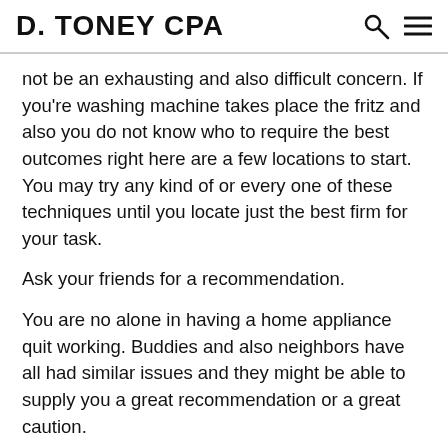D. TONEY CPA
not be an exhausting and also difficult concern. If you're washing machine takes place the fritz and also you do not know who to require the best outcomes right here are a few locations to start. You may try any kind of or every one of these techniques until you locate just the best firm for your task.
Ask your friends for a recommendation.
You are no alone in having a home appliance quit working. Buddies and also neighbors have all had similar issues and they might be able to supply you a great recommendation or a great caution.
Observe the vans in your neighborhood with